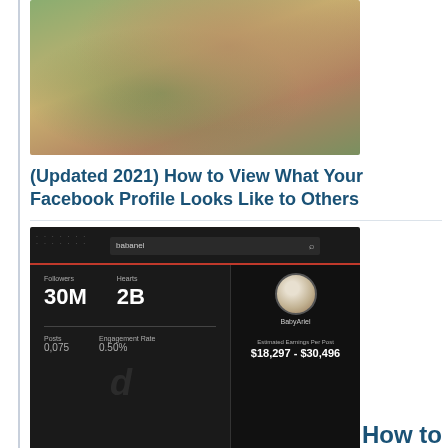[Figure (photo): Photo of a person holding a camera up to their face, partially cropped, with green foliage in background]
(Updated 2021) How to View What Your Facebook Profile Looks Like to Others
[Figure (screenshot): TikTok analytics screenshot showing BabyAriel profile with 30M Followers, 2B Hearts, and Estimated Earnings Per Post of $18,297 - $30,496, with search bar showing 'babanel']
How to Make Money on TikTok
[Figure (screenshot): Instagram profile screenshot showing losangeles_eats (Los Angeles Eats) with Following button and three-dot menu]